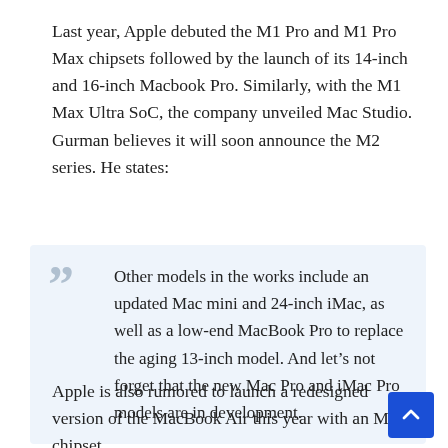Last year, Apple debuted the M1 Pro and M1 Pro Max chipsets followed by the launch of its 14-inch and 16-inch Macbook Pro. Similarly, with the M1 Max Ultra SoC, the company unveiled Mac Studio. Gurman believes it will soon announce the M2 series. He states:
Other models in the works include an updated Mac mini and 24-inch iMac, as well as a low-end MacBook Pro to replace the aging 13-inch model. And let's not forget that the new Mac Pro and iMac Pro models are in development.
Apple is also rumored to launch a redesigned version of the MacBook Air this year with an M2 chipset,